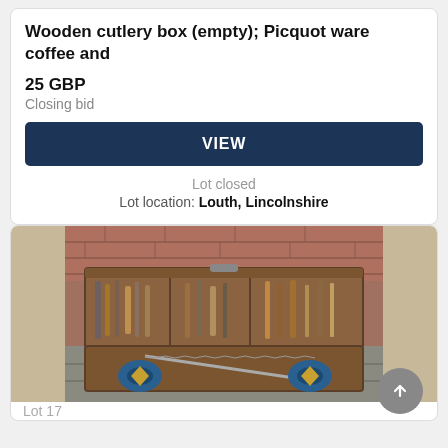Wooden cutlery box (empty); Picquot ware coffee and
25 GBP
Closing bid
VIEW
Lot closed
Lot location: Louth, Lincolnshire
[Figure (photo): An open wooden toolbox/carpenter's chest photographed outdoors on stone paving. The box is open and contains various hand tools. In the lower compartment there is a handsaw with decorative blue and gold butterfly/shamrock shaped medallions at each end. The box appears old and weathered, set against a brick wall background.]
Lot 17